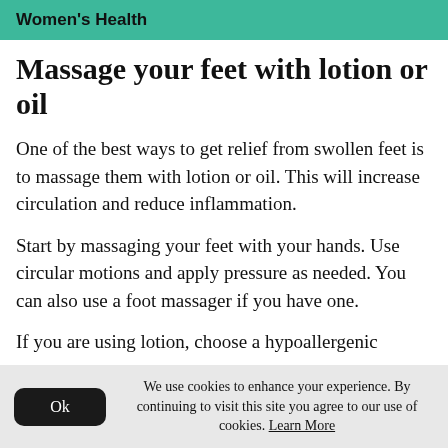Women's Health
Massage your feet with lotion or oil
One of the best ways to get relief from swollen feet is to massage them with lotion or oil. This will increase circulation and reduce inflammation.
Start by massaging your feet with your hands. Use circular motions and apply pressure as needed. You can also use a foot massager if you have one.
If you are using lotion, choose a hypoallergenic
We use cookies to enhance your experience. By continuing to visit this site you agree to our use of cookies. Learn More